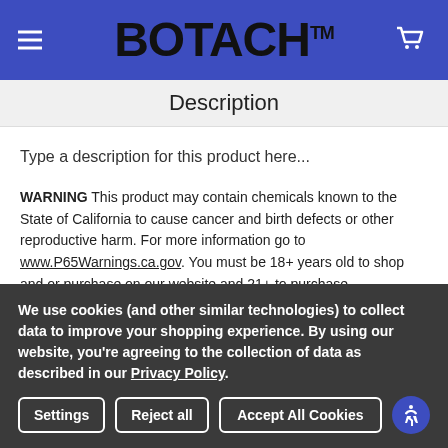BOTACH™
Description
Type a description for this product here...
WARNING This product may contain chemicals known to the State of California to cause cancer and birth defects or other reproductive harm. For more information go to www.P65Warnings.ca.gov. You must be 18+ years old to shop and or purchase on our website and 21+ to purchase Ammunition/Firearms. Check local laws before ordering as you certify you are of legal age and satisfy all federal, state, and local
We use cookies (and other similar technologies) to collect data to improve your shopping experience. By using our website, you're agreeing to the collection of data as described in our Privacy Policy.